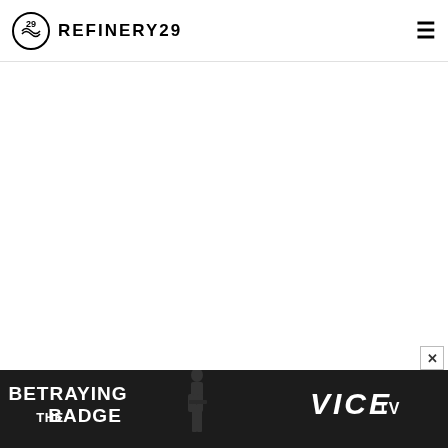REFINERY29
[Figure (screenshot): Refinery29 website screenshot showing navigation header with logo and hamburger menu, large white content area, and a bottom advertisement banner for 'Betraying the Badge' on VICE TV with a silhouetted police officer figure]
[Figure (photo): Advertisement banner: Betraying the Badge - VICE TV, showing dark background with silhouetted police officer figure in center]